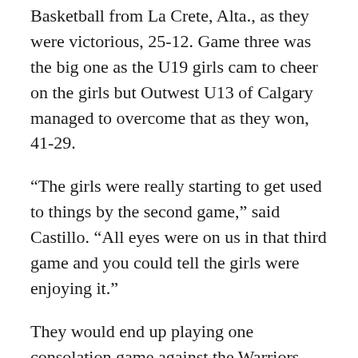Basketball from La Crete, Alta., as they were victorious, 25-12. Game three was the big one as the U19 girls cam to cheer on the girls but Outwest U13 of Calgary managed to overcome that as they won, 41-29.
“The girls were really starting to get used to things by the second game,” said Castillo. “All eyes were on us in that third game and you could tell the girls were enjoying it.”
They would end up playing one consolation game against the Warriors U13 from Peace River, Alta., and finished on a winning note by a score of 29-16.
“They were pleased with themselves when it was over,” said Castillo. “I think they were surprised with the